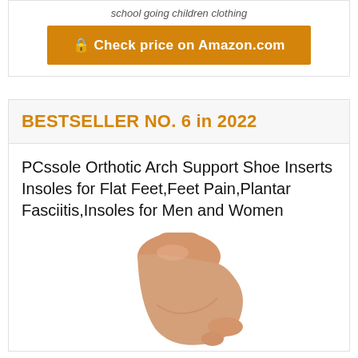school going children clothing
🔒 Check price on Amazon.com
BESTSELLER NO. 6 in 2022
PCssole Orthotic Arch Support Shoe Inserts Insoles for Flat Feet,Feet Pain,Plantar Fasciitis,Insoles for Men and Women
[Figure (photo): Product image of a foot/ankle showing arch support insole positioning]